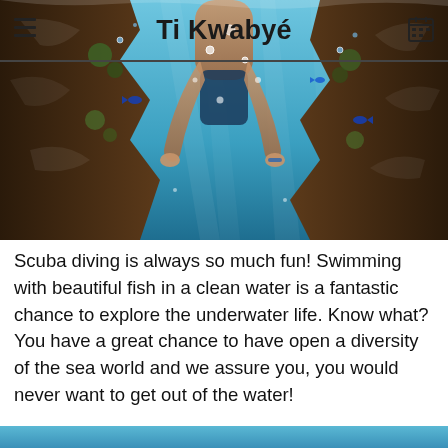Ti Kwabyé
[Figure (photo): Underwater photo of a person snorkeling/diving between coral rocks in clear blue turquoise water with small fish visible]
Scuba diving is always so much fun! Swimming with beautiful fish in a clean water is a fantastic chance to explore the underwater life. Know what? You have a great chance to have open a diversity of the sea world and we assure you, you would never want to get out of the water!